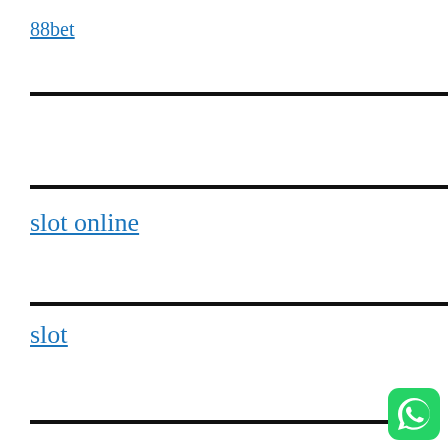88bet
slot online
slot
[Figure (logo): WhatsApp logo icon — green rounded square with white phone/chat handset symbol, positioned bottom-right corner]